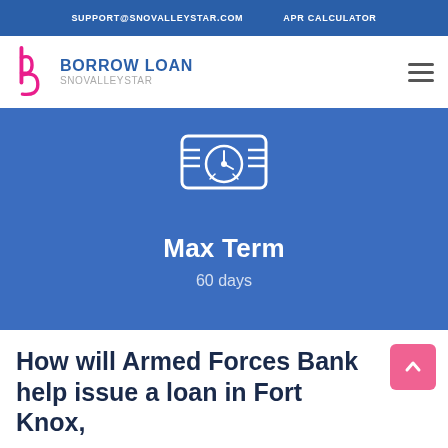SUPPORT@SNOVALLEYSTAR.COM   APR CALCULATOR
[Figure (logo): Borrow Loan SnoValleyStar logo with stylized 'b' icon in pink/magenta]
[Figure (infographic): Blue card with clock/gauge icon showing Max Term: 60 days]
How will Armed Forces Bank help issue a loan in Fort Knox,